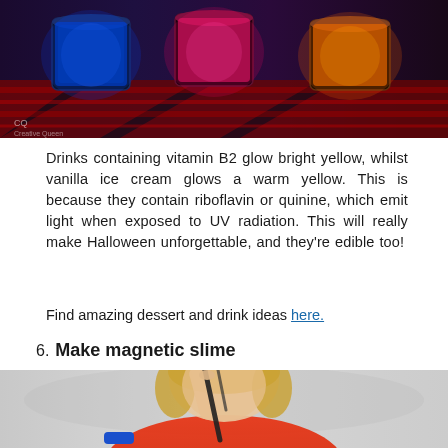[Figure (photo): Photo of glowing colored drinks in jars illuminated by UV/blacklight on a striped surface - blue, pink/red, and orange drinks visible]
Drinks containing vitamin B2 glow bright yellow, whilst vanilla ice cream glows a warm yellow. This is because they contain riboflavin or quinine, which emit light when exposed to UV radiation. This will really make Halloween unforgettable, and they're edible too!
Find amazing dessert and drink ideas here.
6. Make magnetic slime
[Figure (photo): Photo of a young blond child in an orange shirt holding up a piece of black magnetic slime with their fingers]